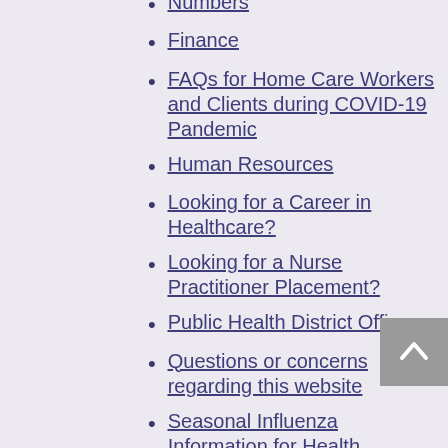Numbers
Finance
FAQs for Home Care Workers and Clients during COVID-19 Pandemic
Human Resources
Looking for a Career in Healthcare?
Looking for a Nurse Practitioner Placement?
Public Health District Offices
Questions or concerns regarding this website
Seasonal Influenza Information for Health Professionals
Telephone Directory
Toll Free Numbers
Volunteer Services